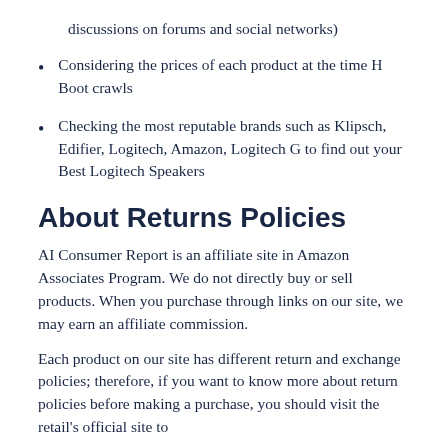discussions on forums and social networks)
Considering the prices of each product at the time H Boot crawls
Checking the most reputable brands such as Klipsch, Edifier, Logitech, Amazon, Logitech G to find out your Best Logitech Speakers
About Returns Policies
AI Consumer Report is an affiliate site in Amazon Associates Program. We do not directly buy or sell products. When you purchase through links on our site, we may earn an affiliate commission.
Each product on our site has different return and exchange policies; therefore, if you want to know more about return policies before making a purchase, you should visit the retail's official site to